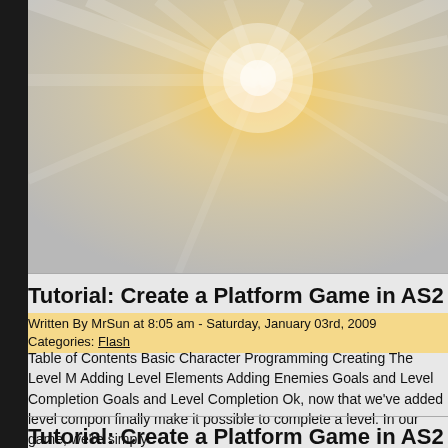[Figure (illustration): Sun burst / radial light rays background image in warm orange and golden tones]
Tutorial: Create a Platform Game in AS2 – Pa
Written By MrSun at 8:05 am - Saturday, January 03rd, 2009
Categories: Flash
Table of Contents Basic Character Programming Creating The Level M... Adding Level Elements Adding Enemies Goals and Level Completion... Goals and Level Completion Ok, now that we've added level compon... finally make it possible to complete a level. In our game, we're simply...
Tutorial: Create a Platform Game in AS2 – Pa
Written By MrSun at 8:04 am - Saturday, January 03rd, 2009
Categories: Flash
Table of Contents Basic Character Programming Creating The Leve...